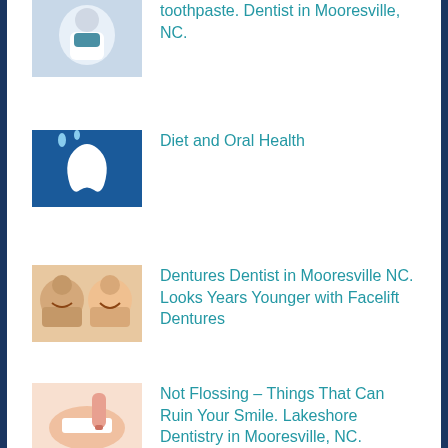Learn more about toothpaste. Dentist in Mooresville, NC.
Diet and Oral Health
Dentures Dentist in Mooresville NC. Looks Years Younger with Facelift Dentures
Not Flossing – Things That Can Ruin Your Smile. Lakeshore Dentistry in Mooresville, NC.